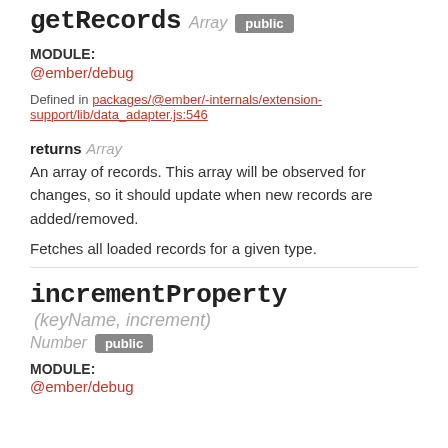getRecords Array public
MODULE:
@ember/debug
Defined in packages/@ember/-internals/extension-support/lib/data_adapter.js:546
returns Array
An array of records. This array will be observed for changes, so it should update when new records are added/removed.
Fetches all loaded records for a given type.
incrementProperty (keyName, increment) Number public
MODULE:
@ember/debug